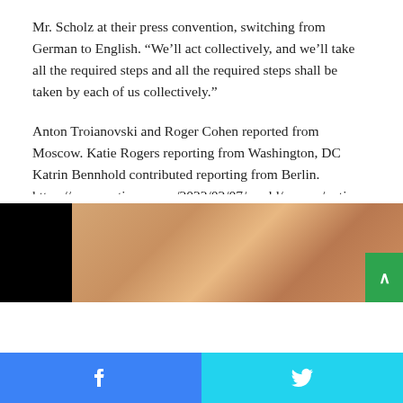Mr. Scholz at their press convention, switching from German to English. “We’ll act collectively, and we’ll take all the required steps and all the required steps shall be taken by each of us collectively.”
Anton Troianovski and Roger Cohen reported from Moscow. Katie Rogers reporting from Washington, DC Katrin Bennhold contributed reporting from Berlin. https://www.nytimes.com/2022/02/07/world/europe/putin-macron-russia-france-ukraine.html Putin Warns the West and Ukraine, however Retains His Intentions a Thriller
PROMOTED CONTENT
[Figure (photo): Promotional image showing a close-up of skin texture, partially obscured by a black rectangle on the left side. A green scroll-to-top button appears on the right.]